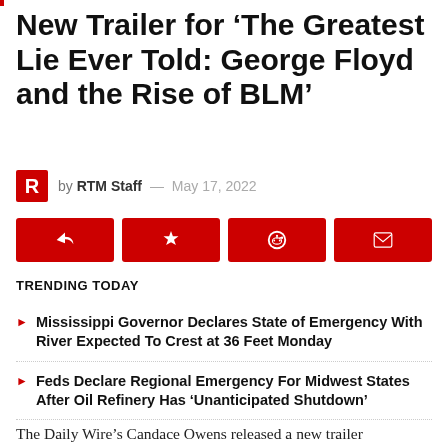New Trailer for ‘The Greatest Lie Ever Told: George Floyd and the Rise of BLM’
by RTM Staff — May 17, 2022
[Figure (other): Four red social share buttons: share, bookmark, Reddit, email]
TRENDING TODAY
Mississippi Governor Declares State of Emergency With River Expected To Crest at 36 Feet Monday
Feds Declare Regional Emergency For Midwest States After Oil Refinery Has ‘Unanticipated Shutdown’
The Daily Wire’s Candace Owens released a new trailer